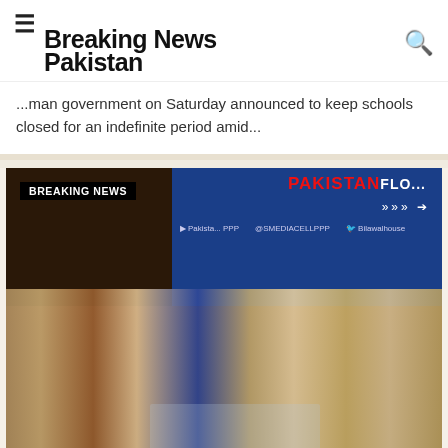Breaking News Pakistan
...man government on Saturday announced to keep schools closed for an indefinite period amid...
[Figure (photo): Group of people at a political gathering, some seated in the front row with hands raised in prayer or supplication. A blue backdrop reads 'PAKISTAN FL...' with PPP branding. A black banner overlay in the top-left reads 'BREAKING NEWS'.]
BREAKING NEWS